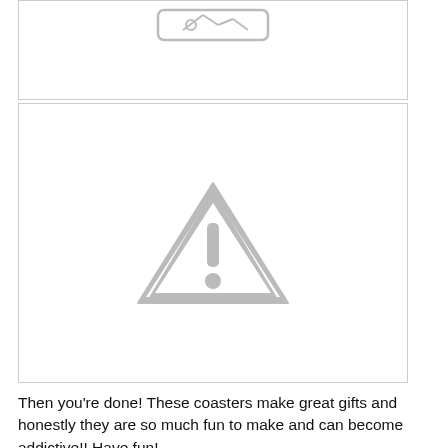[Figure (other): Placeholder image box at top, partially visible, showing a rounded rectangle placeholder icon at the top center.]
[Figure (other): Placeholder image box showing a gray warning triangle with exclamation mark icon in the center.]
Then you're done! These coasters make great gifts and honestly they are so much fun to make and can become addictive!! Have fun!